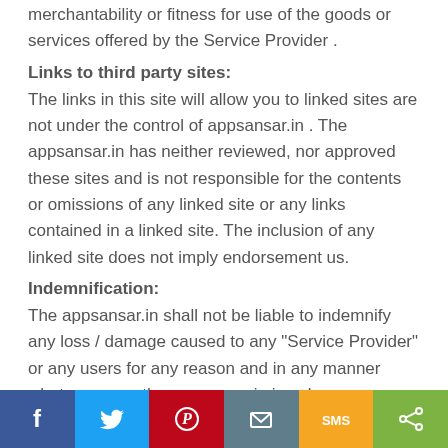merchantability or fitness for use of the goods or services offered by the Service Provider .
Links to third party sites:
The links in this site will allow you to linked sites are not under the control of appsansar.in . The appsansar.in has neither reviewed, nor approved these sites and is not responsible for the contents or omissions of any linked site or any links contained in a linked site. The inclusion of any linked site does not imply endorsement us.
Indemnification:
The appsansar.in shall not be liable to indemnify any loss / damage caused to any "Service Provider" or any users for any reason and in any manner whatsoever as the appsansar.in is only an introducer between the "Service
[Figure (infographic): Social share bar with buttons: Facebook (blue), Twitter (light blue), Pinterest (red), Email (grey), SMS (yellow/orange), Share (green)]